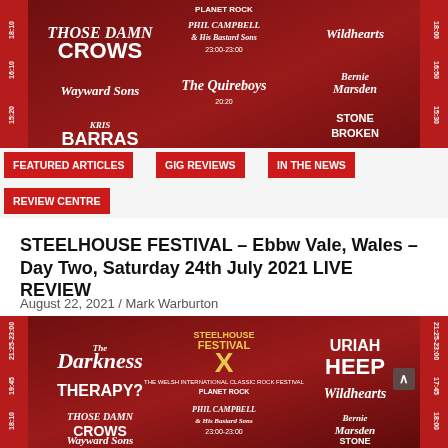[Figure (photo): Steelhouse Festival lineup poster with band names on dark red background including Those Damn Crows, Wayward Sons, Kris Barras, Phil Campbell & His Bastard Sons, The Quireboys, Wild Hearts, Bernard Marsden, Stone Broken, Black Spiders]
FEATURED ARTICLES | GIG REVIEWS | IN THE NEWS | REVIEW CENTRE
STEELHOUSE FESTIVAL – Ebbw Vale, Wales – Day Two, Saturday 24th July 2021 LIVE REVIEW
August 22, 2021 / Mark Warburton
[Figure (photo): Steelhouse Festival X 10th anniversary lineup poster with band names on dark red background including The Darkness, Uriah Heep, Therapy?, Wildhearts, Those Damn Crows, Phil Campbell & His Bastard Sons, Wayward Sons, Bernard Marsden, Stone Broken]